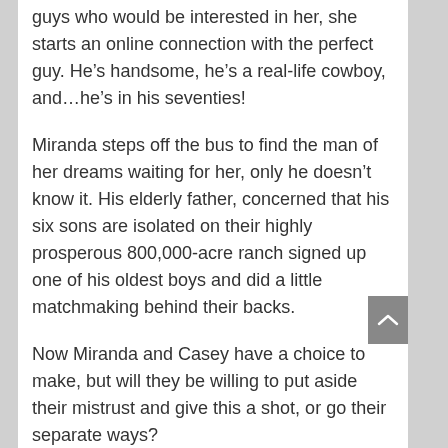guys who would be interested in her, she starts an online connection with the perfect guy. He’s handsome, he’s a real-life cowboy, and…he’s in his seventies!
Miranda steps off the bus to find the man of her dreams waiting for her, only he doesn’t know it. His elderly father, concerned that his six sons are isolated on their highly prosperous 800,000-acre ranch signed up one of his oldest boys and did a little matchmaking behind their backs.
Now Miranda and Casey have a choice to make, but will they be willing to put aside their mistrust and give this a shot, or go their separate ways?
Click here to get this book for FREE